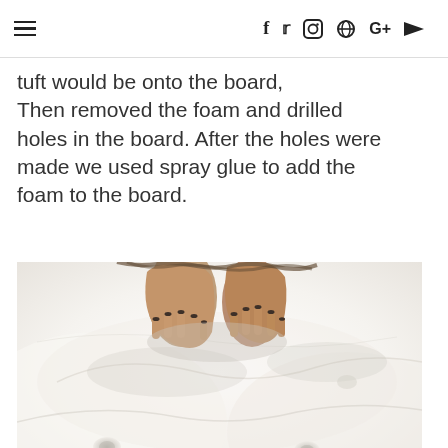≡  f  t  instagram  pinterest  G+  youtube
tuft would be onto the board, Then removed the foam and drilled holes in the board. After the holes were made we used spray glue to add the foam to the board.
[Figure (photo): A person's hands pressing down on white foam/batting material on a board, with visible tufting dimples in the foam surface.]